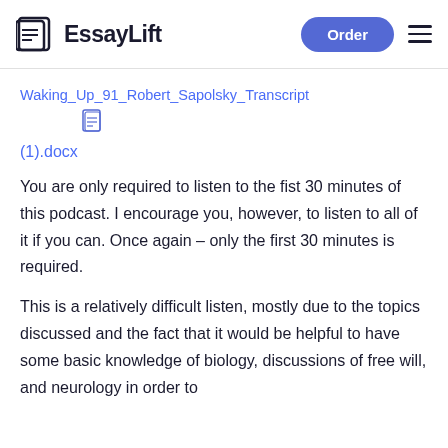EssayLift
Waking_Up_91_Robert_Sapolsky_Transcript
(1).docx
You are only required to listen to the fist 30 minutes of this podcast. I encourage you, however, to listen to all of it if you can. Once again – only the first 30 minutes is required.
This is a relatively difficult listen, mostly due to the topics discussed and the fact that it would be helpful to have some basic knowledge of biology, discussions of free will, and neurology in order to